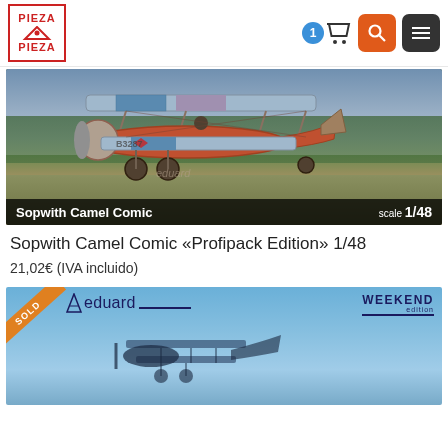[Figure (logo): Pieza a Pieza logo - red bordered box with brand name]
[Figure (screenshot): Navigation bar with cart, search and menu buttons]
[Figure (photo): Sopwith Camel Comic biplane model kit product image with Eduard watermark, labeled scale 1/48]
Sopwith Camel Comic «Profipack Edition» 1/48
21,02€ (IVA incluido)
[Figure (screenshot): Second product card with Eduard Weekend Edition branding, SOLD badge overlay, blue sky background with aircraft silhouette]